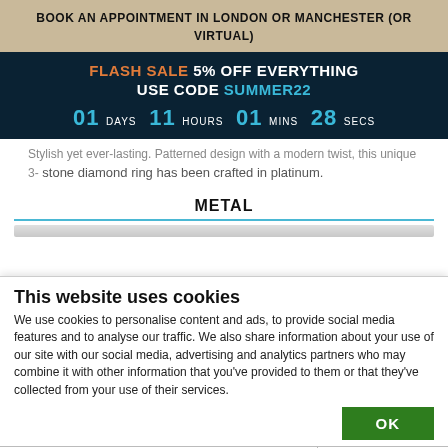BOOK AN APPOINTMENT IN LONDON OR MANCHESTER (OR VIRTUAL)
FLASH SALE 5% OFF EVERYTHING USE CODE SUMMER22 01 DAYS 11 HOURS 01 MINS 28 SECS
Stylish yet ever-lasting. Patterned design with a modern twist, this unique 3-stone diamond ring has been crafted in platinum.
METAL
This website uses cookies
We use cookies to personalise content and ads, to provide social media features and to analyse our traffic. We also share information about your use of our site with our social media, advertising and analytics partners who may combine it with other information that you've provided to them or that they've collected from your use of their services.
OK
Necessary   Preferences   Statistics   Marketing   Show details